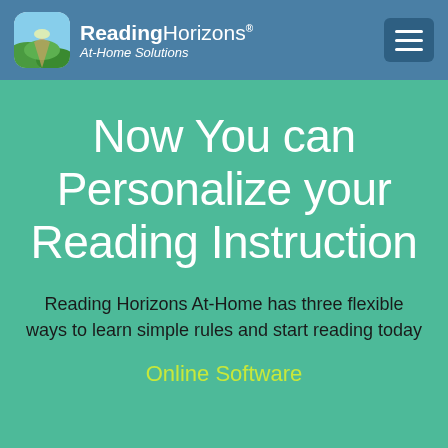[Figure (logo): Reading Horizons At-Home Solutions logo with app icon and navigation bar including hamburger menu button]
Now You can Personalize your Reading Instruction
Reading Horizons At-Home has three flexible ways to learn simple rules and start reading today
Online Software